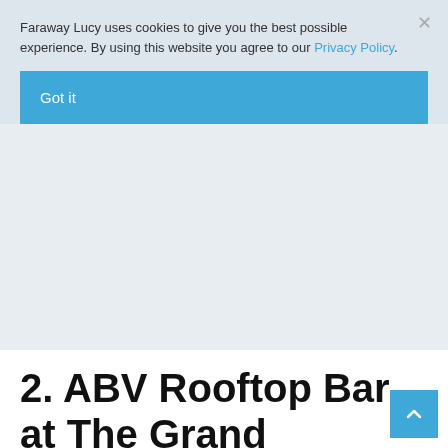Faraway Lucy uses cookies to give you the best possible experience. By using this website you agree to our Privacy Policy.
Got it
2. ABV Rooftop Bar at The Grand